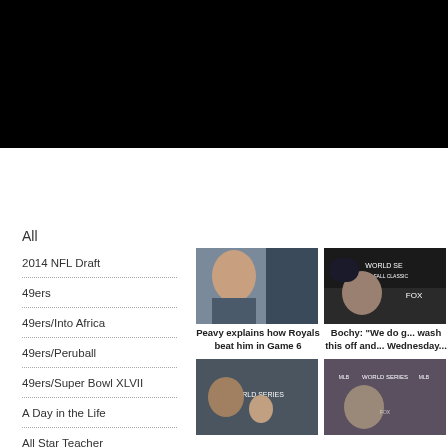[Figure (photo): Black banner image at top of page]
All
2014 NFL Draft
49ers
49ers/Into Africa
49ers/Peruball
49ers/Super Bowl XLVII
A Day in the Life
All Star Teacher
[Figure (photo): Jake Peavy speaking at microphones]
Peavy explains how Royals beat him in Game 6
[Figure (photo): Bruce Bochy at World Series 2014 press conference with FOX logo]
Bochy: "We do g... wash this off and... Wednesday..."
[Figure (photo): Man with child at World Series press conference]
[Figure (photo): Man at World Series press conference with MLB logos]